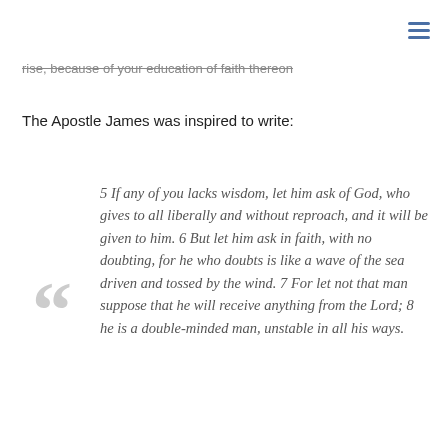☰
rise, because of your education of faith thereon
The Apostle James was inspired to write:
5 If any of you lacks wisdom, let him ask of God, who gives to all liberally and without reproach, and it will be given to him. 6 But let him ask in faith, with no doubting, for he who doubts is like a wave of the sea driven and tossed by the wind. 7 For let not that man suppose that he will receive anything from the Lord; 8 he is a double-minded man, unstable in all his ways.